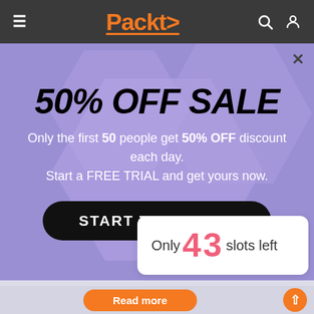Packt>
50% OFF SALE
Only the first 50 people get 50% OFF discount each day. Start a FREE TRIAL and get yours now.
START TRIAL NOW
Hurry Up!!
Only 43 slots left
Read more